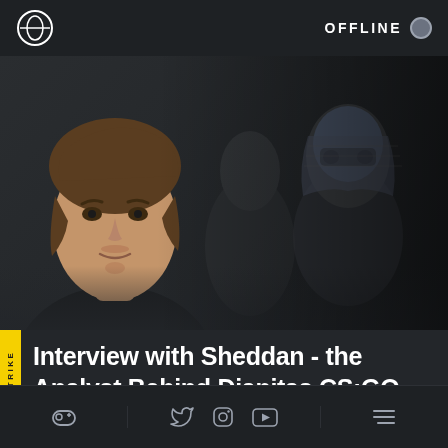OFFLINE
[Figure (photo): A young man with medium-length brown hair and light facial stubble, shown in a dark studio setting with shadowy background figures from a video game (CS:GO)]
Interview with Sheddan - the Analyst Behind Dianitas CS:GO
Navigation bar with gaming controller icon, Twitter, Instagram, YouTube social icons, and hamburger menu